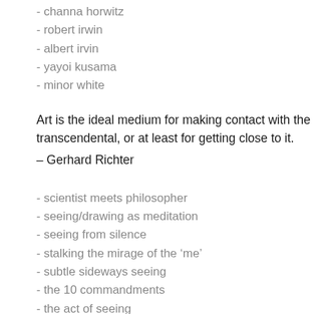- channa horwitz
- robert irwin
- albert irvin
- yayoi kusama
- minor white
Art is the ideal medium for making contact with the transcendental, or at least for getting close to it.
– Gerhard Richter
- scientist meets philosopher
- seeing/drawing as meditation
- seeing from silence
- stalking the mirage of the 'me'
- subtle sideways seeing
- the 10 commandments
- the act of seeing